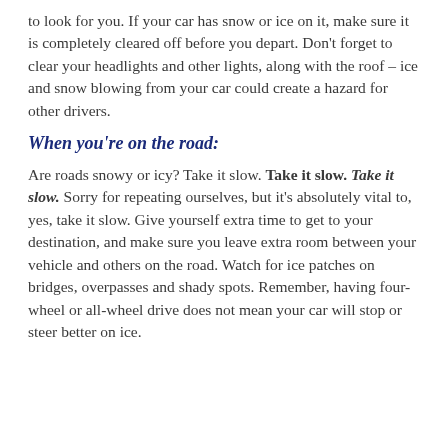to look for you. If your car has snow or ice on it, make sure it is completely cleared off before you depart. Don't forget to clear your headlights and other lights, along with the roof – ice and snow blowing from your car could create a hazard for other drivers.
When you're on the road:
Are roads snowy or icy? Take it slow. Take it slow. Take it slow. Sorry for repeating ourselves, but it's absolutely vital to, yes, take it slow. Give yourself extra time to get to your destination, and make sure you leave extra room between your vehicle and others on the road. Watch for ice patches on bridges, overpasses and shady spots. Remember, having four-wheel or all-wheel drive does not mean your car will stop or steer better on ice.